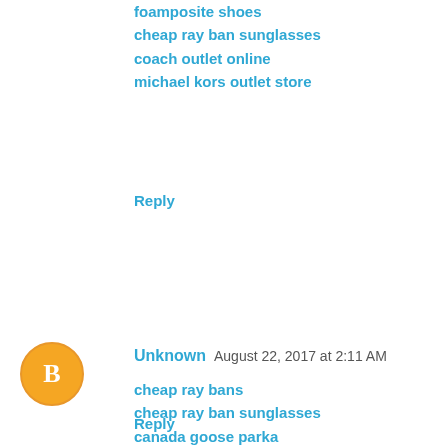foamposite shoes
cheap ray ban sunglasses
coach outlet online
michael kors outlet store
Reply
Unknown  August 22, 2017 at 2:11 AM
cheap ray bans
cheap ray ban sunglasses
canada goose parka
true religion jeans
ray ban sunglasses
cheap oakley sunglasses
ugg outlet store
michael kors outlet
nike outlet
coach outlet clearance
20170822lck
Reply